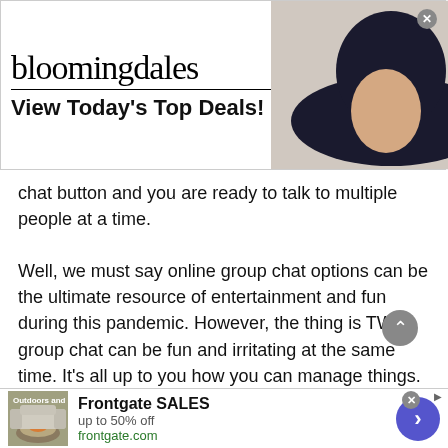[Figure (screenshot): Bloomingdale's advertisement banner: 'View Today's Top Deals!' with a woman in a hat and a 'SHOP NOW >' button]
chat button and you are ready to talk to multiple people at a time.

Well, we must say online group chat options can be the ultimate resource of entertainment and fun during this pandemic. However, the thing is TWS group chat can be fun and irritating at the same time. It's all up to you how you can manage things. For instance, if you don't like any of the participants in a group chat then you can simply leave a chat. Yea you
[Figure (screenshot): Frontgate SALES advertisement: 'up to 50% off frontgate.com' with outdoor furniture image and blue arrow button]